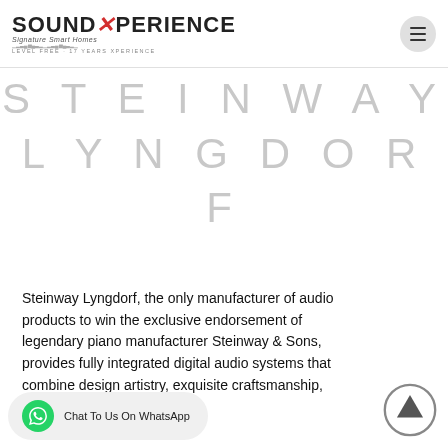SOUND XPERIENCE — Signature Smart Homes — Logo and navigation
STEINWAY LYNGDORF
Steinway Lyngdorf, the only manufacturer of audio products to win the exclusive endorsement of legendary piano manufacturer Steinway & Sons, provides fully integrated digital audio systems that combine design artistry, exquisite craftsmanship, and perfected technology